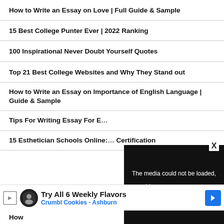How to Write an Essay on Love | Full Guide & Sample
15 Best College Punter Ever | 2022 Ranking
100 Inspirational Never Doubt Yourself Quotes
Top 21 Best College Websites and Why They Stand out
How to Write an Essay on Importance of English Language | Guide & Sample
Tips For Writing Essay For E...
15 Esthetician Schools Online: ... Certification
[Figure (screenshot): Media error overlay with text: The media could not be loaded, either because the server or network failed or because the format is not supported. An X close button is shown top-right.]
[Figure (screenshot): Advertisement banner for Crumbl Cookies - Ashburn: Try All 6 Weekly Flavors]
How ... 2022